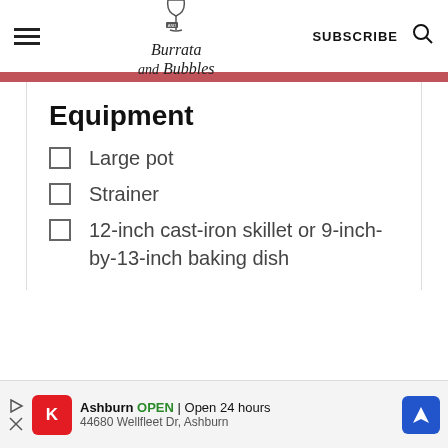Burrata and Bubbles — SUBSCRIBE
Equipment
Large pot
Strainer
12-inch cast-iron skillet or 9-inch-by-13-inch baking dish
Ashburn OPEN | Open 24 hours 44680 Wellfleet Dr, Ashburn